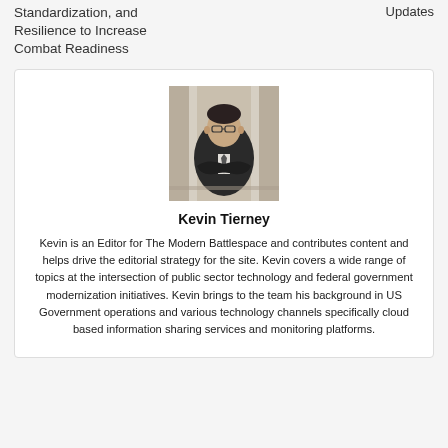Standardization, and Resilience to Increase Combat Readiness
Updates
[Figure (photo): Portrait photo of Kevin Tierney, a man in a dark suit with crossed arms, standing in front of columns]
Kevin Tierney
Kevin is an Editor for The Modern Battlespace and contributes content and helps drive the editorial strategy for the site. Kevin covers a wide range of topics at the intersection of public sector technology and federal government modernization initiatives. Kevin brings to the team his background in US Government operations and various technology channels specifically cloud based information sharing services and monitoring platforms.